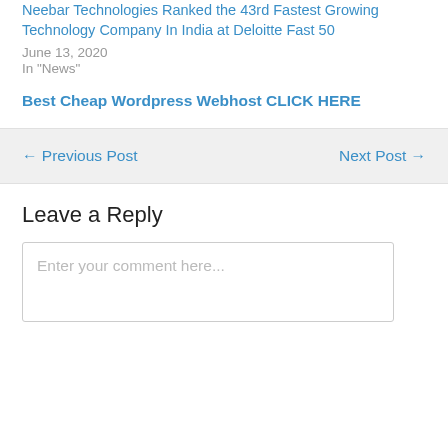Neebar Technologies Ranked the 43rd Fastest Growing Technology Company In India at Deloitte Fast 50
June 13, 2020
In "News"
Best Cheap Wordpress Webhost CLICK HERE
← Previous Post
Next Post →
Leave a Reply
Enter your comment here...